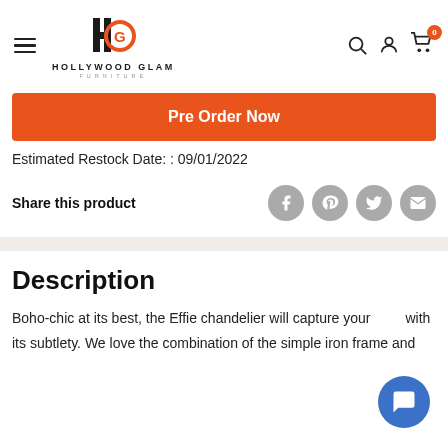[Figure (logo): Hollywood Glam Furniture logo with H and G icon]
Pre Order Now
Estimated Restock Date: : 09/01/2022
Share this product
Description
Boho-chic at its best, the Effie chandelier will capture your with its subtlety. We love the combination of the simple iron frame and